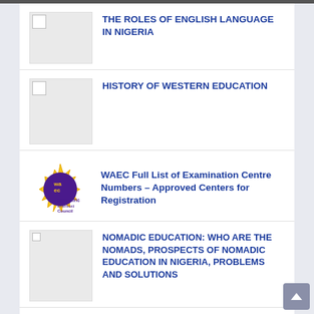THE ROLES OF ENGLISH LANGUAGE IN NIGERIA
HISTORY OF WESTERN EDUCATION
WAEC Full List of Examination Centre Numbers – Approved Centers for Registration
NOMADIC EDUCATION: WHO ARE THE NOMADS, PROSPECTS OF NOMADIC EDUCATION IN NIGERIA, PROBLEMS AND SOLUTIONS
IMPACT OF COMPUTER BASED LEARNING ON EFFECTIVE TEACHING AND LEARNING OF